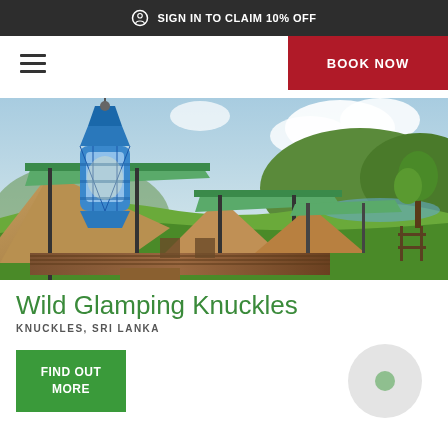SIGN IN TO CLAIM 10% OFF
BOOK NOW
[Figure (photo): Glamping tents with green metal roofs and a blue lantern in foreground, set against lush green hills and cloudy sky in Knuckles, Sri Lanka]
Wild Glamping Knuckles
KNUCKLES, SRI LANKA
FIND OUT MORE